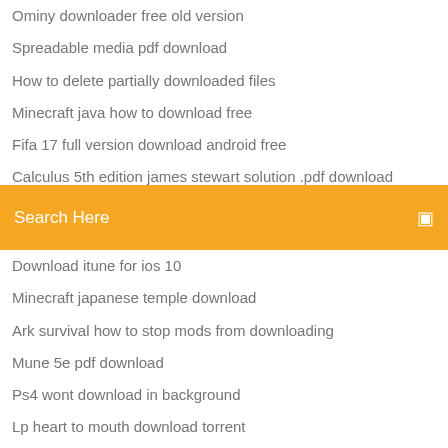Ominy downloader free old version
Spreadable media pdf download
How to delete partially downloaded files
Minecraft java how to download free
Fifa 17 full version download android free
Calculus 5th edition james stewart solution .pdf download
Turok 4 pc download
Search Here
Download itune for ios 10
Minecraft japanese temple download
Ark survival how to stop mods from downloading
Mune 5e pdf download
Ps4 wont download in background
Lp heart to mouth download torrent
Mojang minecraft free download full version
Vmware player latest version free download
How to download current minecraft skin
Download earlier version uitunes